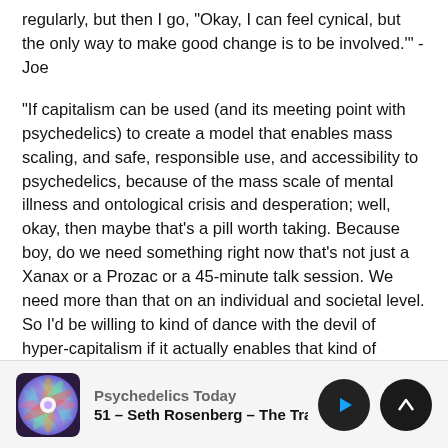regularly, but then I go, "Okay, I can feel cynical, but the only way to make good change is to be involved.'" -Joe
"If capitalism can be used (and its meeting point with psychedelics) to create a model that enables mass scaling, and safe, responsible use, and accessibility to psychedelics, because of the mass scale of mental illness and ontological crisis and desperation; well, okay, then maybe that's a pill worth taking. Because boy, do we need something right now that's not just a Xanax or a Prozac or a 45-minute talk session. We need more than that on an individual and societal level. So I'd be willing to kind of dance with the devil of hyper-capitalism if it actually enables that kind of merging of minds to happen." -David
[Figure (other): Podcast player bar showing Psychedelics Today episode with colorful mandala thumbnail, episode title '51 – Seth Rosenberg – The Trauma I', play button and scroll-up button]